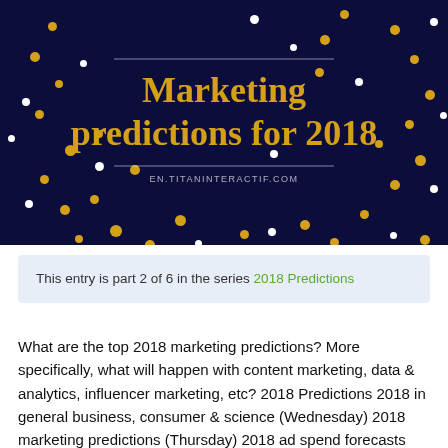[Figure (illustration): Dark navy blue banner image with gold and white dots/confetti, containing the title 'Marketing predictions for 2018' in gold serif text, with decorative horizontal lines and the URL EN.TITANINTERACTIF.COM below]
This entry is part 2 of 6 in the series 2018 Predictions
What are the top 2018 marketing predictions? More specifically, what will happen with content marketing, data & analytics, influencer marketing, etc? 2018 Predictions 2018 in general business, consumer & science (Wednesday) 2018 marketing predictions (Thursday) 2018 ad spend forecasts (Friday) 2018 advertising predictions (Monday) 2018 mobile marketing